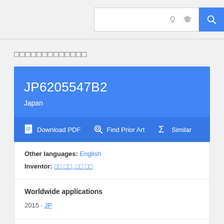Search bar with icons
（Japanese patent title text）
JP6205547B2
Japan
Download PDF   Find Prior Art   Similar
Other languages: English
Inventor: （Japanese names）
Worldwide applications
2015 · JP
Application JP2015129928A events ⓘ